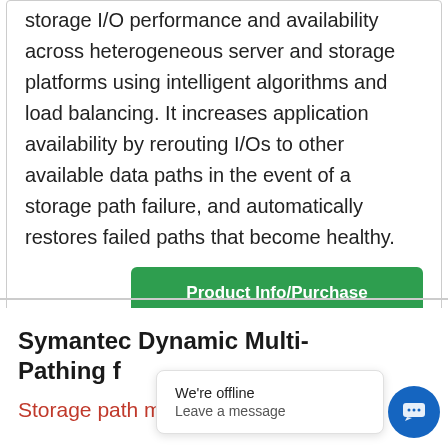storage I/O performance and availability across heterogeneous server and storage platforms using intelligent algorithms and load balancing. It increases application availability by rerouting I/Os to other available data paths in the event of a storage path failure, and automatically restores failed paths that become healthy.
Product Info/Purchase
Symantec Dynamic Multi-Pathing f...
Storage path management for
We're offline
Leave a message